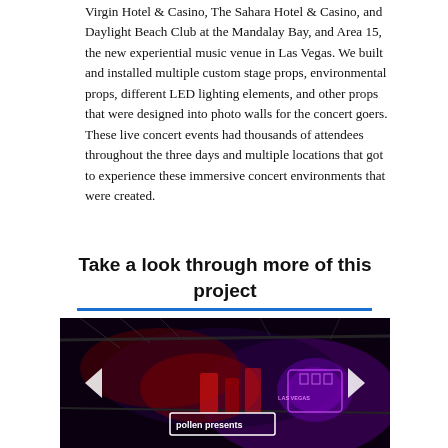Virgin Hotel & Casino, The Sahara Hotel & Casino, and Daylight Beach Club at the Mandalay Bay, and Area 15, the new experiential music venue in Las Vegas. We built and installed multiple custom stage props, environmental props, different LED lighting elements, and other props that were designed into photo walls for the concert goers. These live concert events had thousands of attendees throughout the three days and multiple locations that got to experience these immersive concert environments that were created.
Take a look through more of this project
[Figure (photo): Dark concert venue photo with red and purple lighting, showing stage setup with 'pollen presents' text visible on a sign and a neon logo on the right side. Navigation arrows (left and right) are overlaid on the image.]